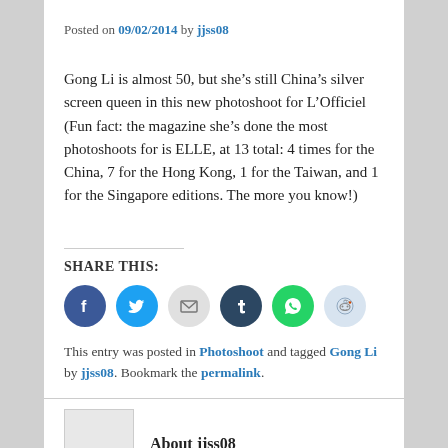Posted on 09/02/2014 by jjss08
Gong Li is almost 50, but she's still China's silver screen queen in this new photoshoot for L'Officiel (Fun fact: the magazine she's done the most photoshoots for is ELLE, at 13 total: 4 times for the China, 7 for the Hong Kong, 1 for the Taiwan, and 1 for the Singapore editions. The more you know!)
SHARE THIS:
[Figure (other): Social share buttons: Facebook, Twitter, Email, Tumblr, WhatsApp, Reddit]
This entry was posted in Photoshoot and tagged Gong Li by jjss08. Bookmark the permalink.
About jjss08